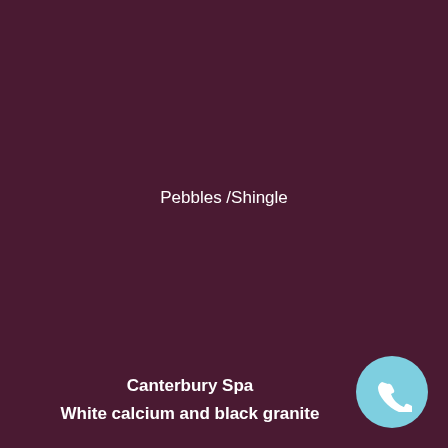Pebbles /Shingle
Canterbury Spa
White calcium and black granite
[Figure (illustration): Phone call button icon — light blue circle with white telephone handset symbol, positioned bottom-right corner]